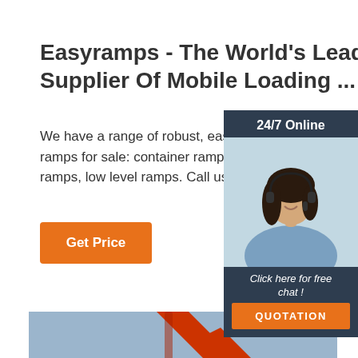Easyramps - The World's Leading Supplier Of Mobile Loading ...
We have a range of robust, easy-to-use mobile ramps for sale: container ramps, truck ramps, ramps, low level ramps. Call us 01600 800 80
Get Price
[Figure (photo): Customer service representative wearing headset, smiling, with '24/7 Online' header and 'Click here for free chat!' text, orange QUOTATION button, dark navy background chat widget]
[Figure (photo): Red excavator arm/boom against blue sky background]